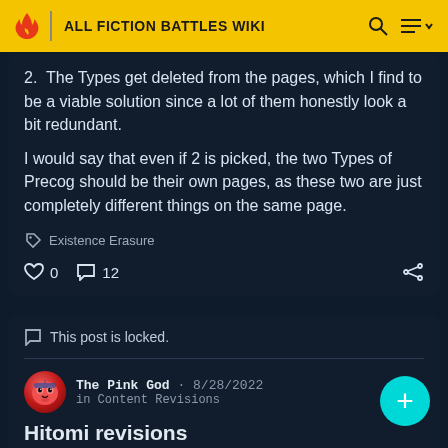ALL FICTION BATTLES WIKI
2. The Types get deleted from the pages, which I find to be a viable solution since a lot of them honestly look a bit redundant.
I would say that even if 2 is picked, the two Types of Precog should be their own pages, as these two are just completely different things on the same page.
Existence Erasure
0   12
This post is locked.
The Pink God · 8/28/2022
in Content Revisions
Hitomi revisions